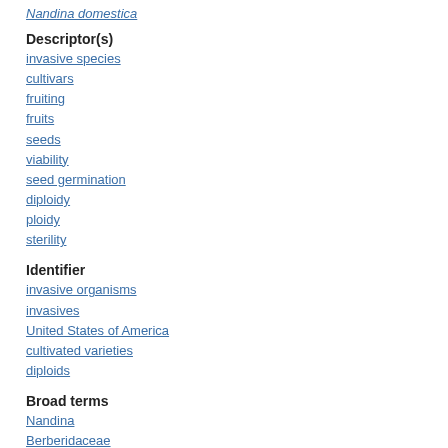Nandina domestica
Descriptor(s)
invasive species
cultivars
fruiting
fruits
seeds
viability
seed germination
diploidy
ploidy
sterility
Identifier
invasive organisms
invasives
United States of America
cultivated varieties
diploids
Broad terms
Nandina
Berberidaceae
Ranunculales